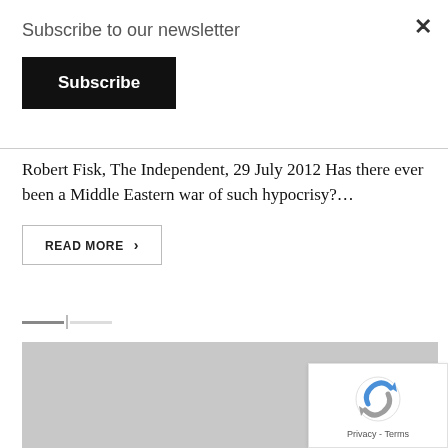Subscribe to our newsletter
Subscribe
Robert Fisk, The Independent, 29 July 2012 Has there ever been a Middle Eastern war of such hypocrisy?…
READ MORE >
[Figure (other): Gray placeholder image block]
[Figure (other): reCAPTCHA badge with Privacy - Terms text]